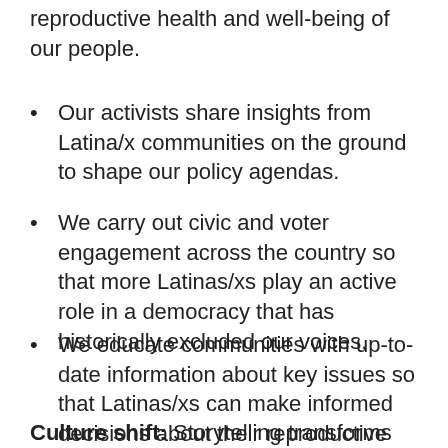reproductive health and well-being of our people.
Our activists share insights from Latina/x communities on the ground to shape our policy agendas.
We carry out civic and voter engagement across the country so that more Latinas/xs play an active role in a democracy that has historically excluded our voices.
We educate communities with up-to-date information about key issues so that Latinas/xs can make informed decisions about their reproductive health.
Culture shift: Storytelling transforms narratives